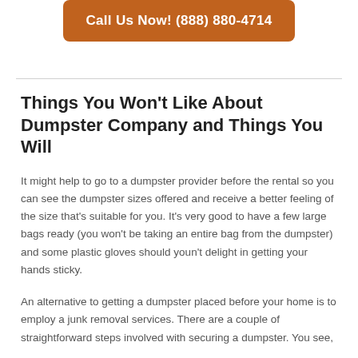[Figure (other): Orange rounded button with white bold text: Call Us Now! (888) 880-4714]
Things You Won't Like About Dumpster Company and Things You Will
It might help to go to a dumpster provider before the rental so you can see the dumpster sizes offered and receive a better feeling of the size that's suitable for you. It's very good to have a few large bags ready (you won't be taking an entire bag from the dumpster) and some plastic gloves should youn't delight in getting your hands sticky.
An alternative to getting a dumpster placed before your home is to employ a junk removal services. There are a couple of straightforward steps involved with securing a dumpster. You see,